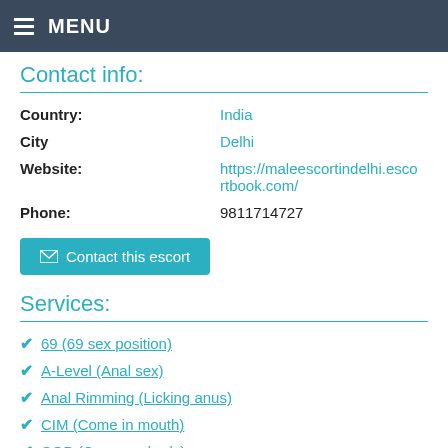MENU
Contact info:
| Country: | India |
| City | Delhi |
| Website: | https://maleescortindelhi.escortbook.com/ |
| Phone: | 9811714727 |
✉ Contact this escort
Services:
69 (69 sex position)
A-Level (Anal sex)
Anal Rimming (Licking anus)
CIM (Come in mouth)
COB (Come on body)
COF (Come on face)
Couples